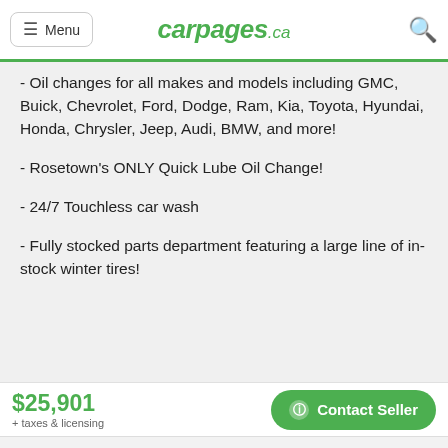carpages.ca
- Oil changes for all makes and models including GMC, Buick, Chevrolet, Ford, Dodge, Ram, Kia, Toyota, Hyundai, Honda, Chrysler, Jeep, Audi, BMW, and more!
- Rosetown's ONLY Quick Lube Oil Change!
- 24/7 Touchless car wash
- Fully stocked parts department featuring a large line of in-stock winter tires!
$25,901
+ taxes & licensing
Contact Seller